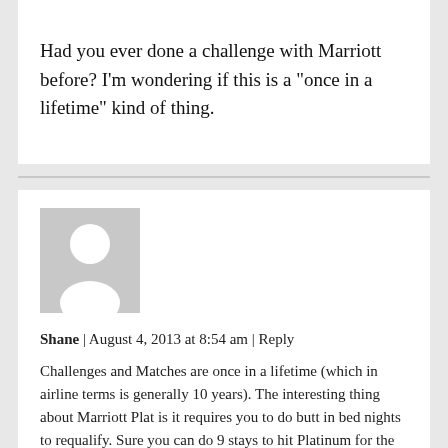Had you ever done a challenge with Marriott before? I'm wondering if this is a “once in a lifetime” kind of thing.
[Figure (illustration): Generic user avatar placeholder: grey square with white silhouette of a person (head circle and shoulders)]
Shane | August 4, 2013 at 8:54 am | Reply
Challenges and Matches are once in a lifetime (which in airline terms is generally 10 years). The interesting thing about Marriott Plat is it requires you to do butt in bed nights to requalify. Sure you can do 9 stays to hit Platinum for the temporary period but after that, Marriott